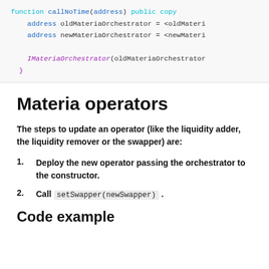[Figure (screenshot): Code block showing Solidity-like function with address variables oldMateriaOrchestrator and newMateriaOrchestrator, a call to IMateriaOrchestrator, and closing brace.]
Materia operators
The steps to update an operator (like the liquidity adder, the liquidity remover or the swapper) are:
Deploy the new operator passing the orchestrator to the constructor.
Call setSwapper(newSwapper).
Code example